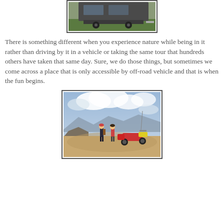[Figure (photo): Partial view of a vehicle or trailer on grass, cropped at top of page]
There is something different when you experience nature while being in it rather than driving by it in a vehicle or taking the same tour that hundreds others have taken that same day. Sure, we do those things, but sometimes we come across a place that is only accessible by off-road vehicle and that is when the fun begins.
[Figure (photo): Two people standing on a rocky mountain summit with an ATV/quad bike nearby, dramatic cloudy sky and mountain landscape in background]